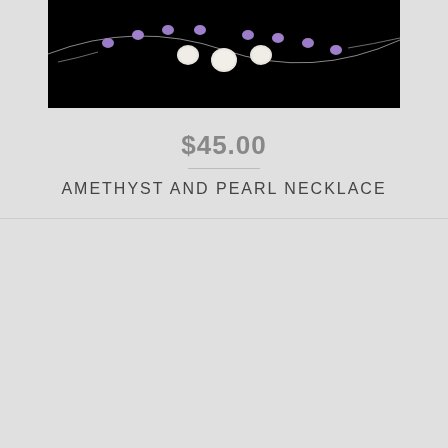[Figure (photo): Amethyst and pearl necklace on black background, showing small white/cream pearls and purple amethyst beads arranged in a necklace shape]
$45.00
AMETHYST AND PEARL NECKLACE
[Figure (photo): Green stone necklace with elongated pale green stick/chip beads and small gold spacer beads arranged on black background]